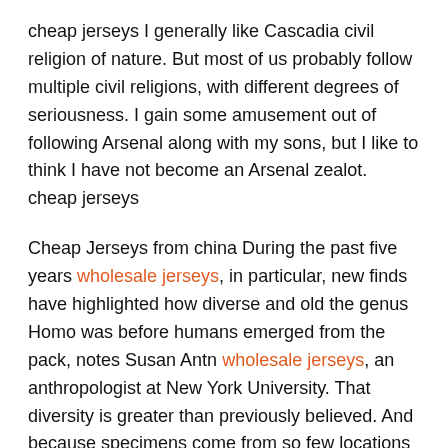cheap jerseys I generally like Cascadia civil religion of nature. But most of us probably follow multiple civil religions, with different degrees of seriousness. I gain some amusement out of following Arsenal along with my sons, but I like to think I have not become an Arsenal zealot. cheap jerseys
Cheap Jerseys from china During the past five years wholesale jerseys, in particular, new finds have highlighted how diverse and old the genus Homo was before humans emerged from the pack, notes Susan Antn wholesale jerseys, an anthropologist at New York University. That diversity is greater than previously believed. And because specimens come from so few locations in Africa wholesale jerseys, the diversity may be greater still.. Cheap Jerseys from china
wholesale nfl jerseys from china Only SC have been validated in relation to MGT using RNA Sequencing5. Hence,